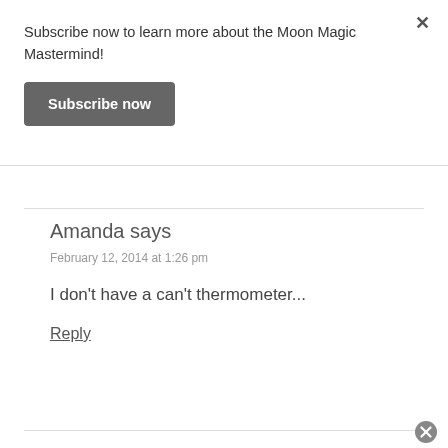Subscribe now to learn more about the Moon Magic Mastermind!
Subscribe now
Amanda says
February 12, 2014 at 1:26 pm
I don't have a can't thermometer...
Reply